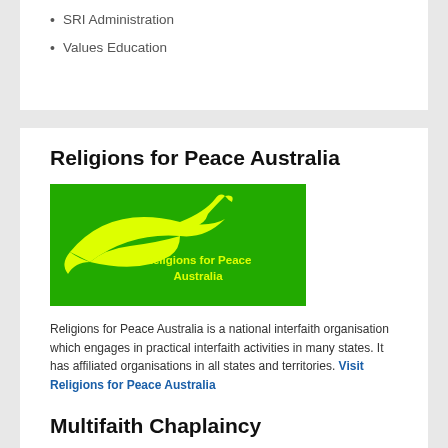SRI Administration
Values Education
Religions for Peace Australia
[Figure (logo): Green background logo with yellow dove/bird silhouette and text 'Religions for Peace Australia']
Religions for Peace Australia is a national interfaith organisation which engages in practical interfaith activities in many states. It has affiliated organisations in all states and territories. Visit Religions for Peace Australia
Multifaith Chaplaincy